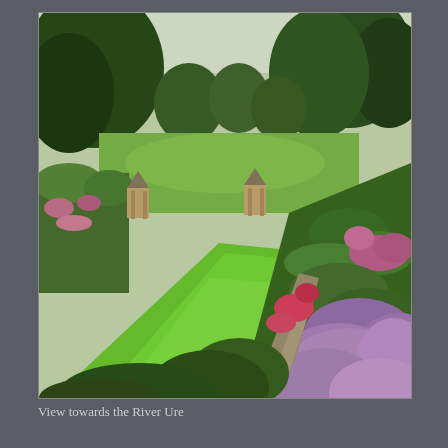[Figure (photo): A garden landscape photo showing a long green lawn stretching into the distance, flanked by colorful herbaceous borders with pink and purple flowers on the right, shrubs and plants on both sides, two stone gazebo or pavilion structures mid-distance, and trees framing the background with open green fields beyond.]
View towards the River Ure